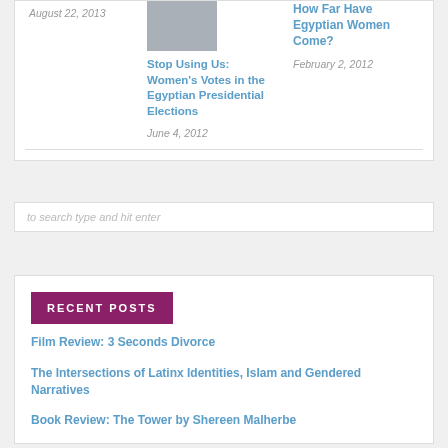August 22, 2013
[Figure (photo): Gray placeholder thumbnail image]
Stop Using Us: Women's Votes in the Egyptian Presidential Elections
June 4, 2012
How Far Have Egyptian Women Come?
February 2, 2012
to search type and hit enter
RECENT POSTS
Film Review: 3 Seconds Divorce
The Intersections of Latinx Identities, Islam and Gendered Narratives
Book Review: The Tower by Shereen Malherbe